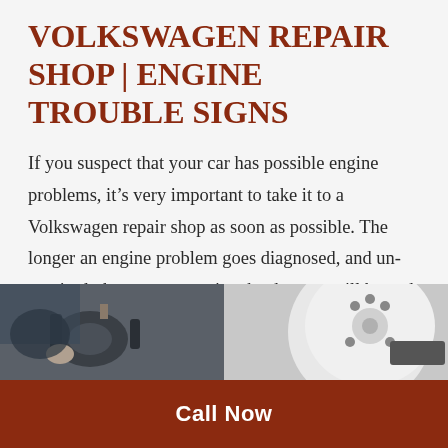VOLKSWAGEN REPAIR SHOP | ENGINE TROUBLE SIGNS
If you suspect that your car has possible engine problems, it’s very important to take it to a Volkswagen repair shop as soon as possible. The longer an engine problem goes diagnosed, and un-repaired, the more extensive the damage will be and the repair costs associated with it. These are signs that you may be [...]
[Figure (photo): Photo of car engine parts and mechanical components]
Call Now